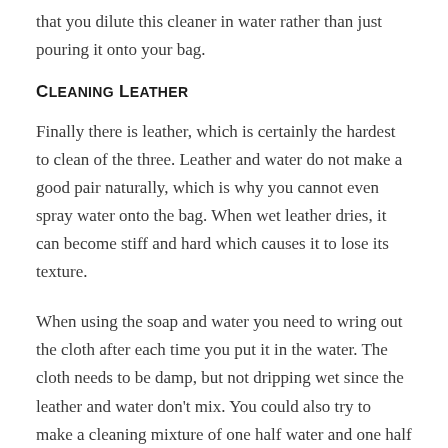that you dilute this cleaner in water rather than just pouring it onto your bag.
Cleaning Leather
Finally there is leather, which is certainly the hardest to clean of the three. Leather and water do not make a good pair naturally, which is why you cannot even spray water onto the bag. When wet leather dries, it can become stiff and hard which causes it to lose its texture.
When using the soap and water you need to wring out the cloth after each time you put it in the water. The cloth needs to be damp, but not dripping wet since the leather and water don’t mix. You could also try to make a cleaning mixture of one half water and one half vinegar.
If you do not want to mess with all of this hassle